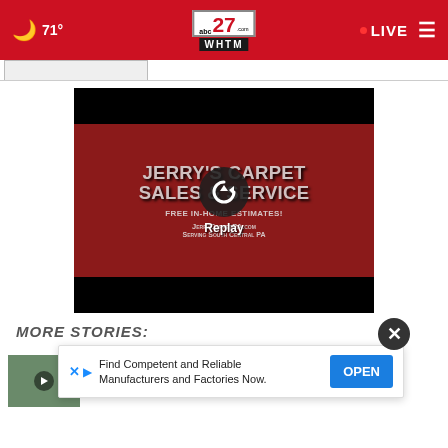71° | ABC 27 WHTM | LIVE
[Figure (screenshot): Video player showing Jerry's Carpet Sales & Service advertisement with a red background. Text reads: JERRY'S CARPET SALES & SERVICE, FREE IN-HOME ESTIMATES!, JerryCarpetPA.com, Serving South Central PA. A replay button overlay is shown in the center.]
MORE STORIES:
[Figure (screenshot): Thumbnail of a news story with a green/dark thumbnail image and play button icon]
hone
[Figure (other): Advertisement overlay: Find Competent and Reliable Manufacturers and Factories Now. with an OPEN button. Also shows X and play icons, and a close button.]